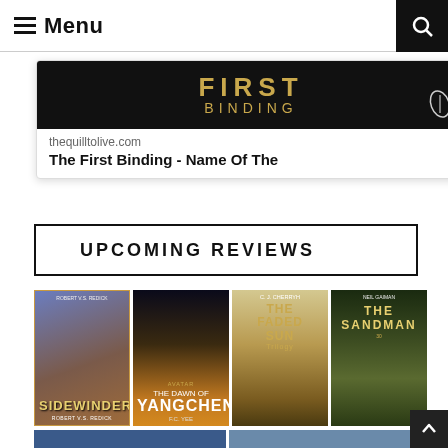Menu
[Figure (screenshot): Book cover image for The First Binding with site preview link to thequilltolive.com]
thequilltolive.com
The First Binding - Name Of The
UPCOMING REVIEWS
[Figure (photo): Four book covers in a row: Sidewinders by Robert V.S. Redick, The Dawn of Yangchen by F.C. Yee (Avatar), The Faded Sun Trilogy by C.J. Cherryh, and The Sandman 30th anniversary by Neil Gaiman]
[Figure (photo): Partial view of two more book covers at the bottom]